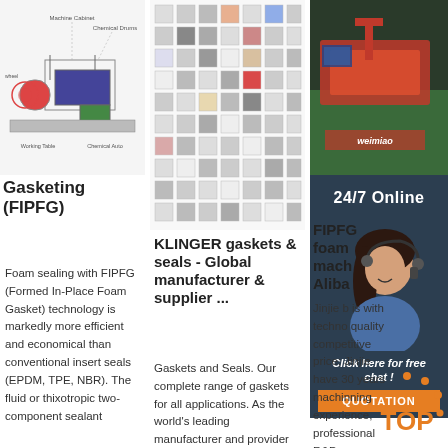[Figure (schematic): Diagram of foam gasketing machine with labeled components including machine cabinet, conveyor systems, chemical drums, working table, chemical auto-feeding system]
[Figure (illustration): Grid of gasket and seal product icons/photos showing various types of gaskets, seals, and related components]
[Figure (photo): Industrial machinery photo showing manufacturing equipment with red/orange machinery on green floor, with weimiao branding]
[Figure (photo): 24/7 Online banner with photo of woman wearing headset (customer service representative) smiling]
Gasketing (FIPFG)
Foam sealing with FIPFG (Formed In-Place Foam Gasket) technology is markedly more efficient and economical than conventional insert seals (EPDM, TPE, NBR). The fluid or thixotropic two-component sealant
KLINGER gaskets & seals - Global manufacturer & supplier ...
Gaskets and Seals. Our complete range of gaskets for all applications. As the world's leading manufacturer and provider of industrial
FIPFG foam mach Aliba
Jinjie b is with techno quality competitive price; Jinjie have 30 years machinning experience, professional R&D
Click here for free chat !
QUOTATION